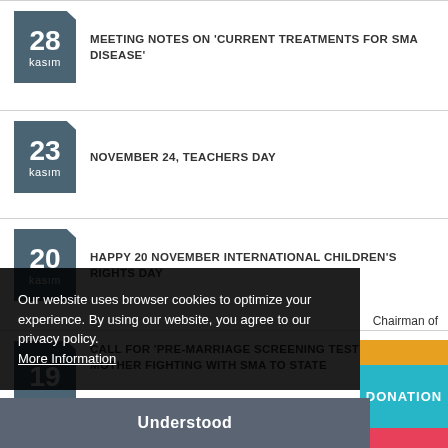28 kasım — MEETING NOTES ON 'CURRENT TREATMENTS FOR SMA DISEASE'
23 kasım — NOVEMBER 24, TEACHERS DAY
20 kasım — HAPPY 20 NOVEMBER INTERNATIONAL CHILDREN'S RIGHTS DAY
19 kasım — CALL FOR 'PRE-MARRIAGE SCREENING TEST' FROM MOTHER FIGHTING WITH SMA TO STATE
Our website uses browser cookies to optimize your experience. By using our website, you agree to our privacy policy. More Information
Understood
Chairman of
DONATION